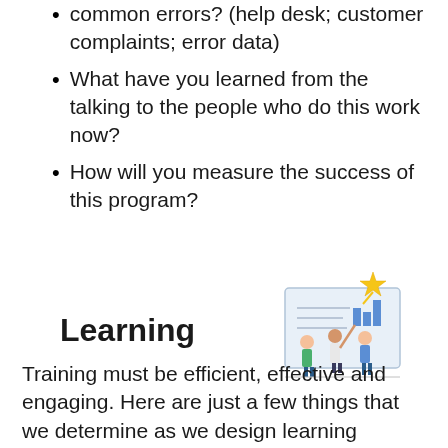common errors? (help desk; customer complaints; error data)
What have you learned from the talking to the people who do this work now?
How will you measure the success of this program?
Learning
[Figure (illustration): Illustration of three people at a presentation board with a star, representing a training/learning scene]
Training must be efficient, effective and engaging. Here are just a few things that we determine as we design learning solutions for the workplace: